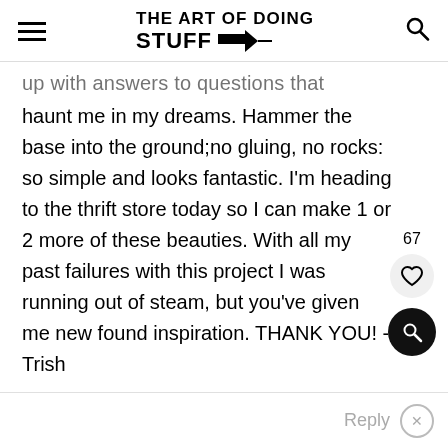THE ART OF DOING STUFF
up with answers to questions that haunt me in my dreams. Hammer the base into the ground;no gluing, no rocks: so simple and looks fantastic. I'm heading to the thrift store today so I can make 1 or 2 more of these beauties. With all my past failures with this project I was running out of steam, but you've given me new found inspiration. THANK YOU! -Trish